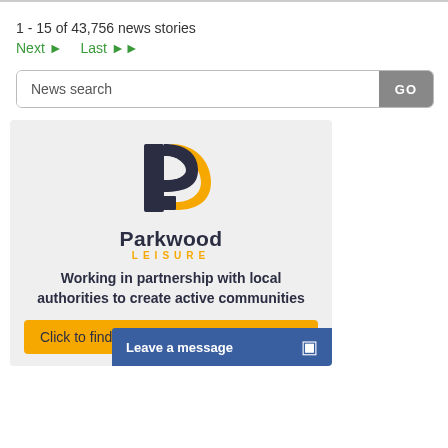1 - 15 of 43,756 news stories
Next ▶  Last ▶▶
News search  GO
[Figure (logo): Parkwood Leisure logo with stylized orange and dark navy P mark, with text 'Parkwood' in bold dark navy and 'LEISURE' in orange spaced capitals below]
Working in partnership with local authorities to create active communities
Click to find o...
Leave a message